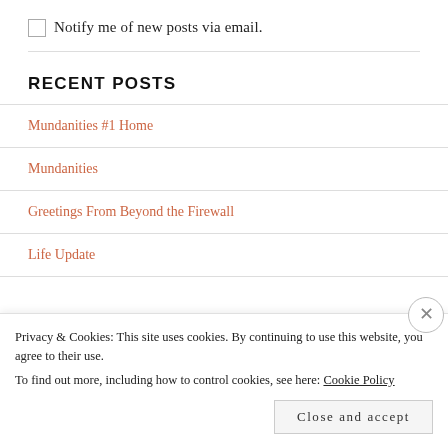Notify me of new posts via email.
RECENT POSTS
Mundanities #1 Home
Mundanities
Greetings From Beyond the Firewall
Life Update
Privacy & Cookies: This site uses cookies. By continuing to use this website, you agree to their use. To find out more, including how to control cookies, see here: Cookie Policy
Close and accept